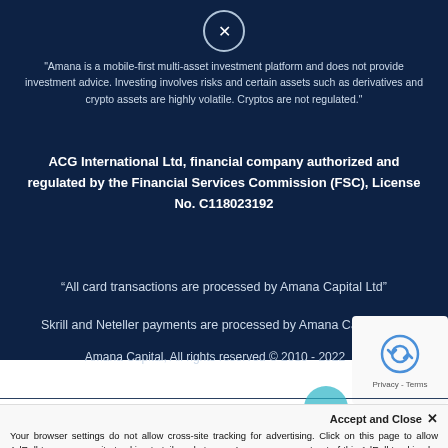[Figure (other): Close button circle with X symbol at top center]
"Amana is a mobile-first multi-asset investment platform and does not provide investment advice. Investing involves risks and certain assets such as derivatives and crypto assets are highly volatile. Cryptos are not regulated."
ACG International Ltd, financial company authorized and regulated by the Financial Services Commission (FSC), License No. C118023192
“All card transactions are processed by Amana Capital Ltd”
Skrill and Neteller payments are processed by Amana Capital LTD
Amana Capital, All rights reserved © 2010 - 2022
[Figure (other): reCAPTCHA widget with robot icon and Privacy - Terms links]
Accept and Close ×
Your browser settings do not allow cross-site tracking for advertising. Click on this page to allow AdRoll to use cross-site tracking to tailor ads to you. Learn more or opt out of this AdRoll tracking by clicking here. This message only appears once.